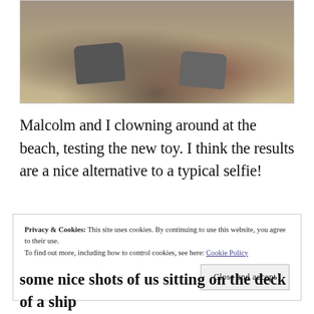[Figure (photo): A partial photo showing two people's feet and sneakers on sandy beach with rocks]
Malcolm and I clowning around at the beach, testing the new toy. I think the results are a nice alternative to a typical selfie!
Privacy & Cookies: This site uses cookies. By continuing to use this website, you agree to their use.
To find out more, including how to control cookies, see here: Cookie Policy
some nice shots of us sitting on the deck of a ship